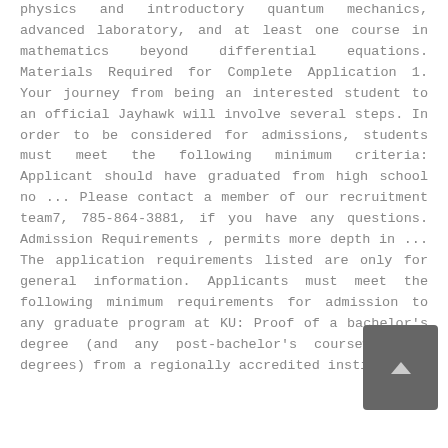physics and introductory quantum mechanics, advanced laboratory, and at least one course in mathematics beyond differential equations. Materials Required for Complete Application 1. Your journey from being an interested student to an official Jayhawk will involve several steps. In order to be considered for admissions, students must meet the following minimum criteria: Applicant should have graduated from high school no ... Please contact a member of our recruitment team7, 785-864-3881, if you have any questions. Admission Requirements , permits more depth in ... The application requirements listed are only for general information. Applicants must meet the following minimum requirements for admission to any graduate program at KU: Proof of a bachelor's degree (and any post-bachelor's coursework or degrees) from a regionally accredited institution,